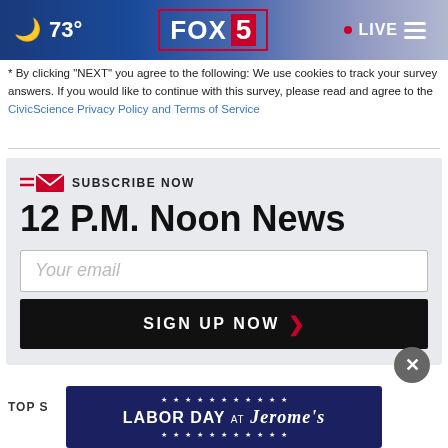🌙 73° FOX 5 · LIVE
* By clicking "NEXT" you agree to the following: We use cookies to track your survey answers. If you would like to continue with this survey, please read and agree to the CivicScience Privacy Policy and Terms of Service
SUBSCRIBE NOW
12 P.M. Noon News
[Your email input] [SIGN UP NOW >]
[Figure (screenshot): Labor Day at Jerome's advertisement banner — dark navy blue background with white text and stars]
TOP S